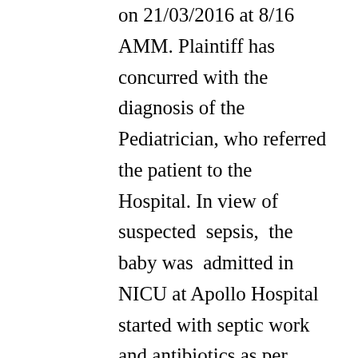on 21/03/2016 at 8/16 AMM. Plaintiff has concurred with the diagnosis of the Pediatrician, who referred the patient to the Hospital. In view of suspected sepsis, the baby was admitted in NICU at Apollo Hospital started with septic work and antibiotics as per standard treatment protocol. Later, as the Blood culture showed positive for bacterial infection ( Co-agulase negative staphylococcal infection )Lumbar puncture was advised as part of sepsis work up which is mandatory to rule out meningitis. The Consent was taken from mother after explaining to her regarding the procedure and the need for the procedure. The consent form for Lumbar puncture has been signed by Mother of Baby, Mrs. Saroja after getting a detail explanation. The defendant no 1 and the